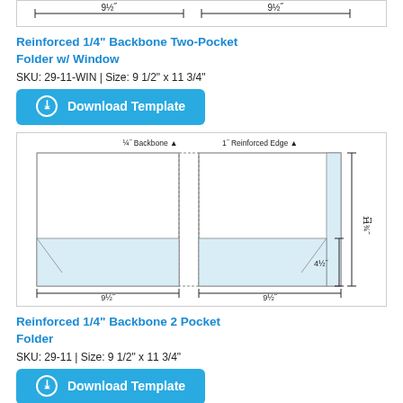[Figure (engineering-diagram): Top portion of a two-pocket folder diagram showing 9½" measurements on each side with dimension arrows at the top.]
Reinforced 1/4" Backbone Two-Pocket Folder w/ Window
SKU: 29-11-WIN | Size: 9 1/2" x 11 3/4"
[Figure (other): Download Template button - blue rounded rectangle with circle-arrow icon and bold white text]
[Figure (engineering-diagram): Two-pocket folder engineering diagram showing ¼" Backbone, 1" Reinforced Edge, dimensions 11¾" height, 4½" pocket height, 9½" width on each side.]
Reinforced 1/4" Backbone 2 Pocket Folder
SKU: 29-11 | Size: 9 1/2" x 11 3/4"
[Figure (other): Download Template button - blue rounded rectangle with circle-arrow icon and bold white text]
[Figure (engineering-diagram): Bottom partial diagram showing ¼" Backbone and ¾" Reinforced Edge labels at the top.]